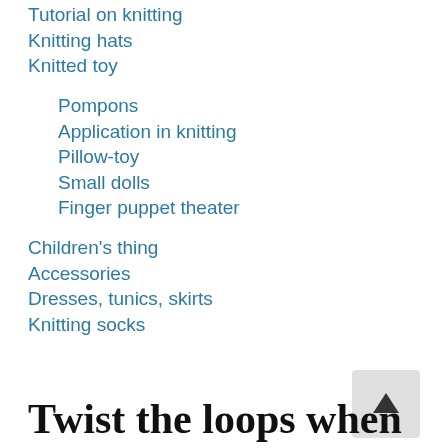Tutorial on knitting
Knitting hats
Knitted toy
Pompons
Application in knitting
Pillow-toy
Small dolls
Finger puppet theater
Children's thing
Accessories
Dresses, tunics, skirts
Knitting socks
[Figure (screenshot): Back to top button with upward chevron arrow on grey background]
Twist the loops when